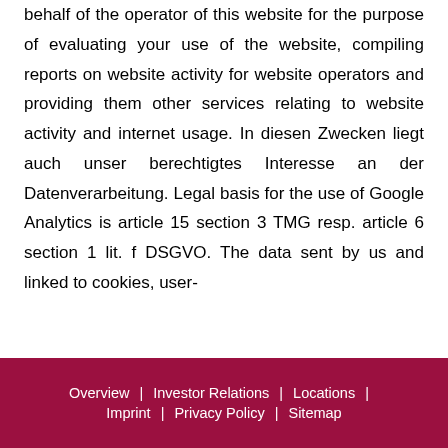behalf of the operator of this website for the purpose of evaluating your use of the website, compiling reports on website activity for website operators and providing them other services relating to website activity and internet usage. In diesen Zwecken liegt auch unser berechtigtes Interesse an der Datenverarbeitung. Legal basis for the use of Google Analytics is article 15 section 3 TMG resp. article 6 section 1 lit. f DSGVO. The data sent by us and linked to cookies, user-
Overview | Investor Relations | Locations | Imprint | Privacy Policy | Sitemap